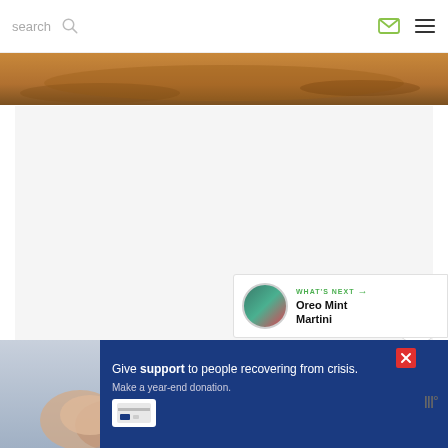search
[Figure (photo): Golden/amber colored sky or desert landscape strip at the top of the content area]
ADVERTISEMENT
[Figure (other): Heart favorite button (teal circle with white heart icon), count badge showing 1, and share button (white circle with share icon)]
[Figure (other): What's Next promo card showing a cocktail thumbnail and text 'WHAT'S NEXT → Oreo Mint Martini']
[Figure (photo): Hands holding together photo in bottom left]
[Figure (other): Advertisement banner: 'Give support to people recovering from crisis. Make a year-end donation.' with close X button and payment icon]